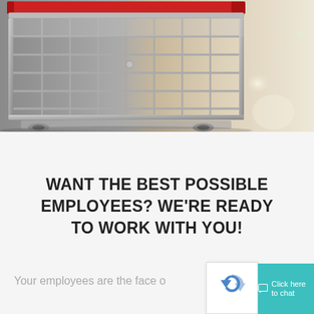[Figure (photo): Close-up photo of a metal shopping cart with red handle accents in the foreground, blurred retail store aisle in the background with warm beige/cream tones and bokeh light effects]
WANT THE BEST POSSIBLE EMPLOYEES? WE'RE READY TO WORK WITH YOU!
Your employees are the face o…